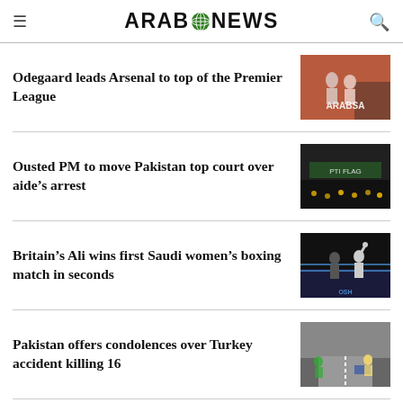ARAB NEWS
Odegaard leads Arsenal to top of the Premier League
Ousted PM to move Pakistan top court over aide's arrest
Britain's Ali wins first Saudi women's boxing match in seconds
Pakistan offers condolences over Turkey accident killing 16